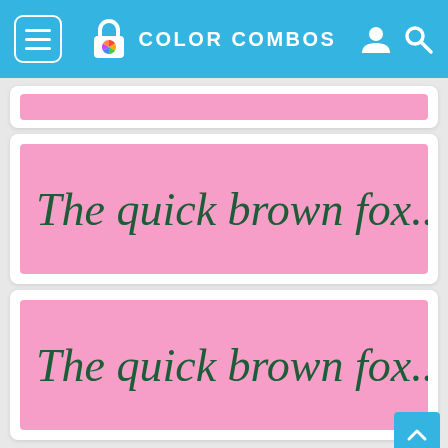COLOR COMBOS
[Figure (screenshot): Partial pink color swatch card at top, partially visible]
[Figure (screenshot): Pink background card with dark green cursive text: The quick brown fox..]
[Figure (screenshot): Pink background card with dark green cursive text: The quick brown fox..]
[Figure (screenshot): Pink background card with dark green cursive text partially visible at bottom]